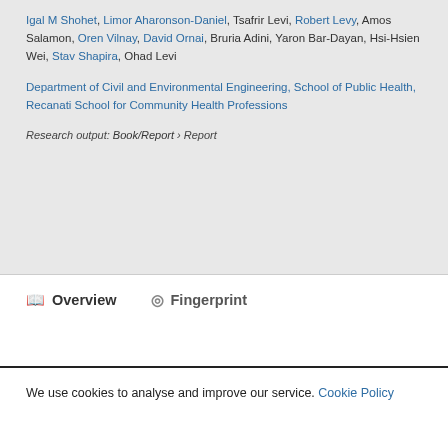Igal M Shohet, Limor Aharonson-Daniel, Tsafrir Levi, Robert Levy, Amos Salamon, Oren Vilnay, David Ornai, Bruria Adini, Yaron Bar-Dayan, Hsi-Hsien Wei, Stav Shapira, Ohad Levi
Department of Civil and Environmental Engineering, School of Public Health, Recanati School for Community Health Professions
Research output: Book/Report › Report
Overview
Fingerprint
We use cookies to analyse and improve our service. Cookie Policy